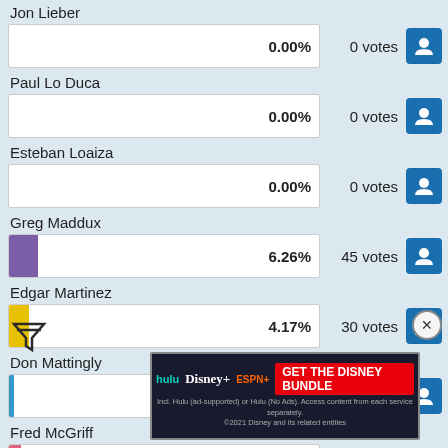Jon Lieber – 0.00% – 0 votes
Paul Lo Duca – 0.00% – 0 votes
Esteban Loaiza – 0.00% – 0 votes
Greg Maddux – 6.26% – 45 votes
Edgar Martinez – 4.17% – 30 votes
Don Mattingly – 1.11% – 8 votes
Fred McGriff – 3.76% – 27 votes
Mark Mc… (partially obscured)
Jack Morris
[Figure (screenshot): Disney Bundle advertisement banner with Hulu, Disney+, and ESPN+ logos]